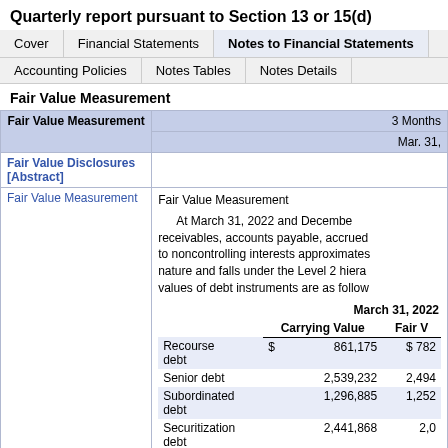Quarterly report pursuant to Section 13 or 15(d)
Cover | Financial Statements | Notes to Financial Statements | Accounting Policies | Notes Tables | Notes Details
Fair Value Measurement
| Fair Value Measurement | 3 Months | Mar. 31, |
| --- | --- | --- |
| Fair Value Disclosures [Abstract] |  |  |
| Fair Value Measurement | Fair Value Measurement

At March 31, 2022 and December receivables, accounts payable, accrued to noncontrolling interests approximates nature and falls under the Level 2 hiera values of debt instruments are as follow |  |
|  | March 31, 2022 |  |
|  | Carrying Value | Fair V |
| Recourse debt | $ 861,175 | $ 782 |
| Senior debt | 2,539,232 | 2,494 |
| Subordinated debt | 1,296,885 | 1,252 |
| Securitization debt | 2,441,868 | 2,0?? |